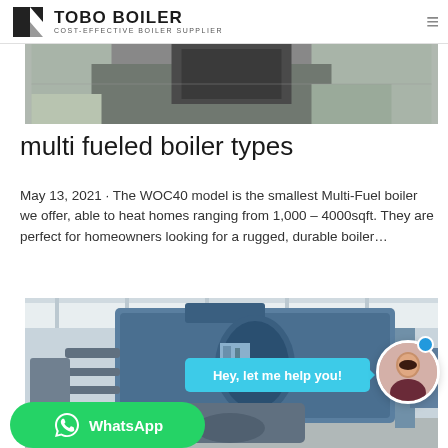TOBO BOILER — COST-EFFECTIVE BOILER SUPPLIER
[Figure (photo): Top portion of a boiler equipment photo, partially visible at top of page]
multi fueled boiler types
May 13, 2021 · The WOC40 model is the smallest Multi-Fuel boiler we offer, able to heat homes ranging from 1,000 – 4000sqft. They are perfect for homeowners looking for a rugged, durable boiler…
[Figure (photo): Industrial boiler in a warehouse setting, large blue cylindrical boiler unit with associated equipment and piping, with chat widget overlay showing 'Hey, let me help you!' speech bubble and WhatsApp button]